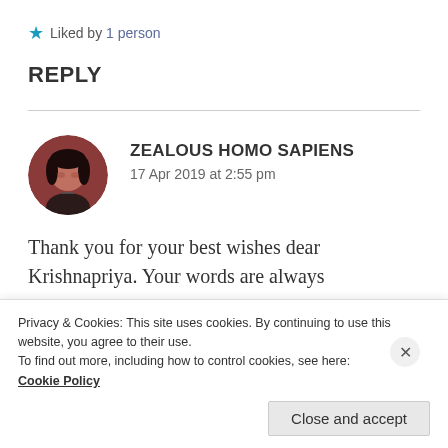★ Liked by 1 person
REPLY
[Figure (photo): Round avatar photo of a person with dark hair, dark reddish-brown background]
ZEALOUS HOMO SAPIENS
17 Apr 2019 at 2:55 pm
Thank you for your best wishes dear Krishnapriya. Your words are always
Privacy & Cookies: This site uses cookies. By continuing to use this website, you agree to their use.
To find out more, including how to control cookies, see here: Cookie Policy
Close and accept